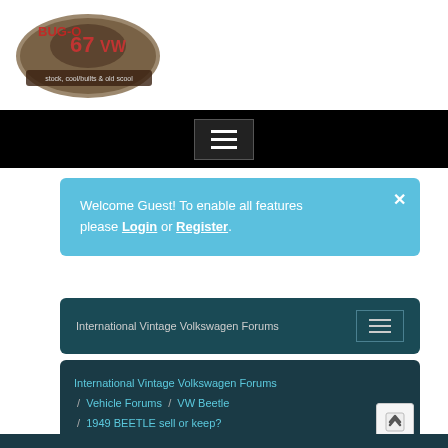[Figure (logo): Bug-O-VW website logo with stylized VW beetle and tagline 'stock, cool/builts & old scool']
Navigation bar with hamburger menu
Welcome Guest! To enable all features please Login or Register.
International Vintage Volkswagen Forums
International Vintage Volkswagen Forums / Vehicle Forums / VW Beetle / 1949 BEETLE sell or keep?